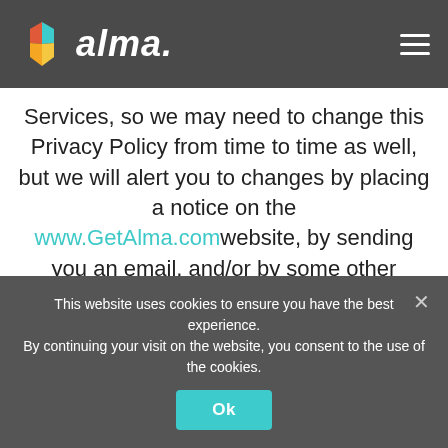alma
Services, so we may need to change this Privacy Policy from time to time as well, but we will alert you to changes by placing a notice on the www.GetAlma.com website, by sending you an email, and/or by some other means. Please note that if you've opted not to receive legal notice emails from us (or you haven't provided us with your email
This website uses cookies to ensure you have the best experience. By continuing your visit on the website, you consent to the use of the cookies.